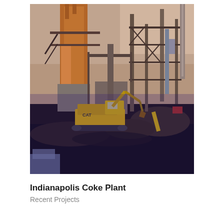[Figure (photo): Industrial coke plant site at dusk/dawn showing large orange-rust colored industrial structures with metal framework, pipes, and a yellow CAT excavator working in the foreground on dark earthen ground. The scene depicts an active demolition or construction site with mounds of dirt and debris.]
Indianapolis Coke Plant
Recent Projects